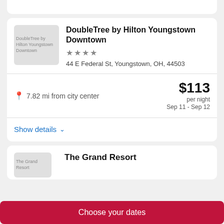[Figure (photo): Hotel thumbnail image placeholder for DoubleTree by Hilton Youngstown Downtown]
DoubleTree by Hilton Youngstown Downtown
★★★★
44 E Federal St, Youngstown, OH, 44503
7.82 mi from city center
$113 per night Sep 11 - Sep 12
Show details
[Figure (photo): Hotel thumbnail image placeholder for The Grand Resort]
The Grand Resort
Choose your dates